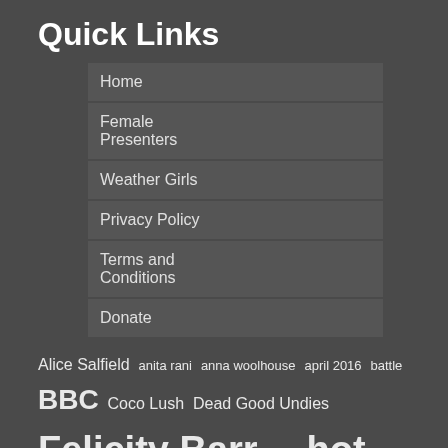Quick Links
Home
Female Presenters
Weather Girls
Privacy Policy
Terms and Conditions
Donate
Alice Salfield anita rani anna woolhouse april 2016 battle BBC Coco Lush Dead Good Undies Felicity Barr fetish hot itv Julie Etchingham Kasia Madera Katie Derham Latex laura tobin Lauren Taylor lingerie Lucrezia Milirani Lucrezia Millarini lucy verasamy Mary Nightingale mary nightinglae may 2016 naga munchetty news presenter presenters rachel riley radio reporter